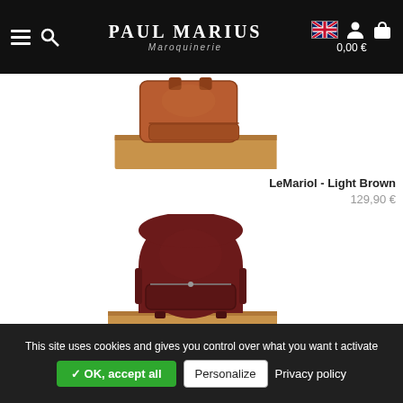Paul Marius Maroquinerie — 0,00 €
[Figure (photo): Partial view of a light brown leather bag (LeMariol) displayed on a wooden surface, top portion visible]
LeMariol - Light Brown
129,90 €
[Figure (photo): Dark burgundy/wine-colored leather backpack (LeMariol) with front zip pocket, displayed on wooden surface, partially cut off at bottom]
This site uses cookies and gives you control over what you want t activate
✓ OK, accept all
Personalize
Privacy policy